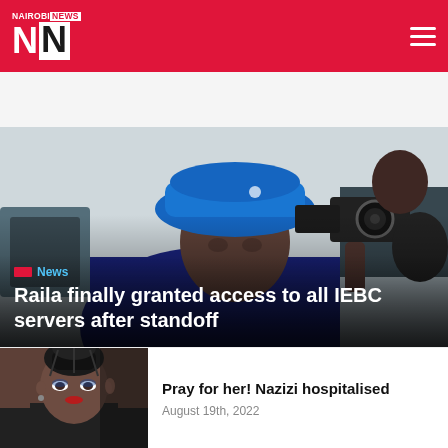Nairobi News — site header with logo and navigation
[Figure (photo): Man wearing blue hat being filmed by a camera crew at an IEBC event]
Raila finally granted access to all IEBC servers after standoff
[Figure (photo): Portrait of a woman with braided hair — Nazizi]
Pray for her! Nazizi hospitalised
August 19th, 2022